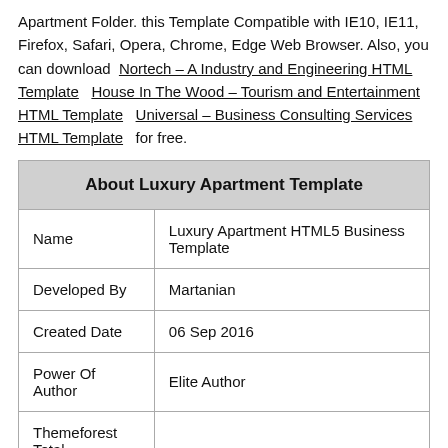Apartment Folder. this Template Compatible with IE10, IE11, Firefox, Safari, Opera, Chrome, Edge Web Browser. Also, you can download Nortech – A Industry and Engineering HTML Template House In The Wood – Tourism and Entertainment HTML Template Universal – Business Consulting Services HTML Template for free.
| About Luxury Apartment Template |
| --- |
| Name | Luxury Apartment HTML5 Business Template |
| Developed By | Martanian |
| Created Date | 06 Sep 2016 |
| Power Of Author | Elite Author |
| Themeforest Total |  |